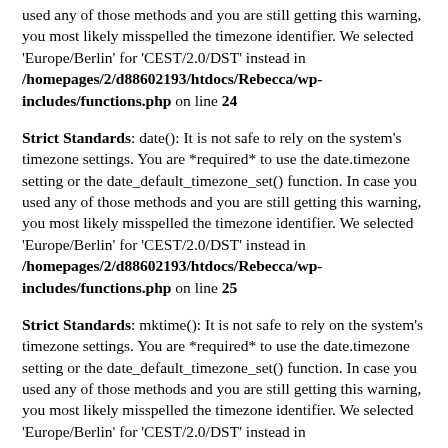used any of those methods and you are still getting this warning, you most likely misspelled the timezone identifier. We selected 'Europe/Berlin' for 'CEST/2.0/DST' instead in /homepages/2/d88602193/htdocs/Rebecca/wp-includes/functions.php on line 24
Strict Standards: date(): It is not safe to rely on the system's timezone settings. You are *required* to use the date.timezone setting or the date_default_timezone_set() function. In case you used any of those methods and you are still getting this warning, you most likely misspelled the timezone identifier. We selected 'Europe/Berlin' for 'CEST/2.0/DST' instead in /homepages/2/d88602193/htdocs/Rebecca/wp-includes/functions.php on line 25
Strict Standards: mktime(): It is not safe to rely on the system's timezone settings. You are *required* to use the date.timezone setting or the date_default_timezone_set() function. In case you used any of those methods and you are still getting this warning, you most likely misspelled the timezone identifier. We selected 'Europe/Berlin' for 'CEST/2.0/DST' instead in /homepages/2/d88602193/htdocs/Rebecca/wp-includes/functions.php on line 11
Sat, 30 Apr 2011 06:58:00 +0000
Strict Standards: strtotime(): It is not safe to rely on the system's